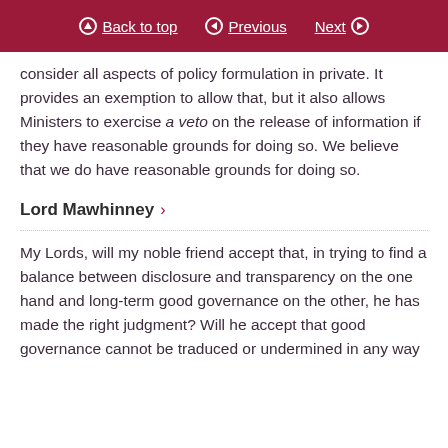Back to top | Previous | Next
consider all aspects of policy formulation in private. It provides an exemption to allow that, but it also allows Ministers to exercise a veto on the release of information if they have reasonable grounds for doing so. We believe that we do have reasonable grounds for doing so.
Lord Mawhinney
My Lords, will my noble friend accept that, in trying to find a balance between disclosure and transparency on the one hand and long-term good governance on the other, he has made the right judgment? Will he accept that good governance cannot be traduced or undermined in any way because it is at the very heart of the British system and